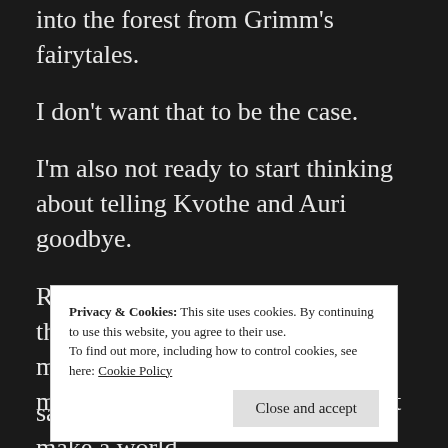into the forest from Grimm's fairytales.
I don't want that to be the case.
I'm also not ready to start thinking about telling Kvothe and Auri goodbye.
Really, it's books like this, books that get under my skin, that break my slender thread of trust, that make me more sure than every that I have
Privacy & Cookies: This site uses cookies. By continuing to use this website, you agree to their use.
To find out more, including how to control cookies, see here: Cookie Policy
sad ones. I have to know that I can make a world